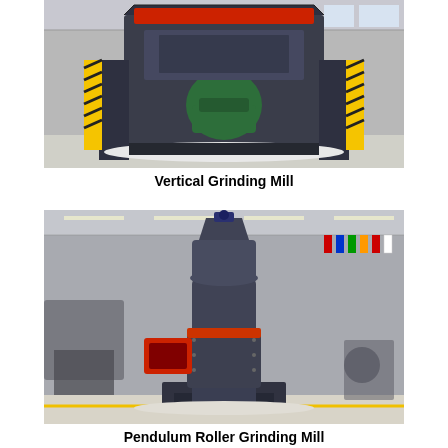[Figure (photo): Vertical Grinding Mill - large industrial grinding machine photographed from the front in a factory setting. The machine is dark blue/grey with red accents, a green motor visible at center, and yellow/black hazard-striped supports. Industrial warehouse background.]
Vertical Grinding Mill
[Figure (photo): Pendulum Roller Grinding Mill - tall cylindrical industrial grinding mill photographed in a large factory/exhibition hall. The machine is dark grey with a red band in the middle and a red square feed inlet on the side. Colorful national flags are visible hanging in the background. The mill sits on a mechanical base frame.]
Pendulum Roller Grinding Mill